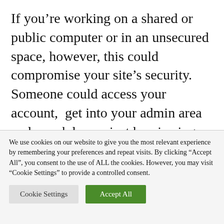If you're working on a shared or public computer or in an unsecured space, however, this could compromise your site's security. Someone could access your account,  get into your admin area and wreak havoc just by viewing your browser history.
We use cookies on our website to give you the most relevant experience by remembering your preferences and repeat visits. By clicking "Accept All", you consent to the use of ALL the cookies. However, you may visit "Cookie Settings" to provide a controlled consent.